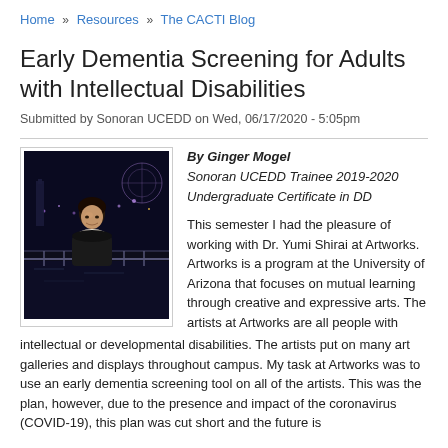Home » Resources » The CACTI Blog
Early Dementia Screening for Adults with Intellectual Disabilities
Submitted by Sonoran UCEDD on Wed, 06/17/2020 - 5:05pm
[Figure (photo): Photo of Ginger Mogel, a young woman standing outdoors at night near a waterfront with city lights in the background.]
By Ginger Mogel
Sonoran UCEDD Trainee 2019-2020
Undergraduate Certificate in DD
This semester I had the pleasure of working with Dr. Yumi Shirai at Artworks. Artworks is a program at the University of Arizona that focuses on mutual learning through creative and expressive arts. The artists at Artworks are all people with intellectual or developmental disabilities. The artists put on many art galleries and displays throughout campus. My task at Artworks was to use an early dementia screening tool on all of the artists. This was the plan, however, due to the presence and impact of the coronavirus (COVID-19), this plan was cut short and the future is